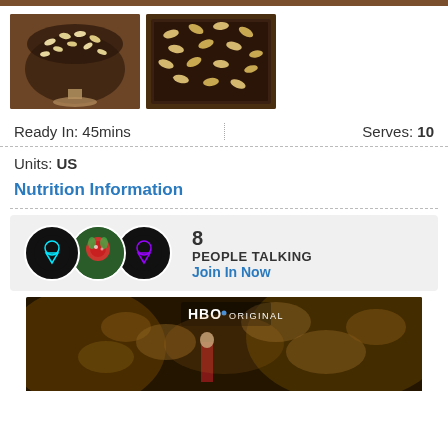[Figure (photo): Top brown strip / header bar]
[Figure (photo): Two food photos side by side showing chocolate desserts with seeds/nuts on top]
Ready In: 45mins
Serves: 10
Units: US
Nutrition Information
8 PEOPLE TALKING Join In Now
[Figure (photo): HBO Original advertisement showing a dragon and a person in a dark fantasy setting]